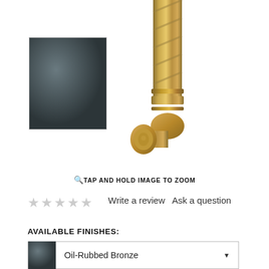[Figure (photo): Dark grey/charcoal square thumbnail of a bathroom fixture finish swatch (Oil-Rubbed Bronze finish color reference)]
[Figure (photo): Ornate antique brass/gold decorative plumbing elbow pipe fitting with detailed carved/ribbed column design, shown on white background]
TAP AND HOLD IMAGE TO ZOOM
[Figure (other): Five empty/unrated stars for product review rating]
Write a review   Ask a question
AVAILABLE FINISHES:
Oil-Rubbed Bronze
This website uses cookies to enhance user experience and to analyze performance and traffic on our website. We also share information about your use of our site with our social media, advertising and analytics partners. Cookie Policy